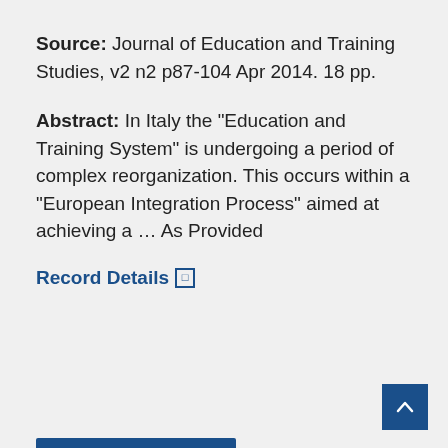Source: Journal of Education and Training Studies, v2 n2 p87-104 Apr 2014. 18 pp.
Abstract: In Italy the "Education and Training System" is undergoing a period of complex reorganization. This occurs within a "European Integration Process" aimed at achieving a ... As Provided
Record Details